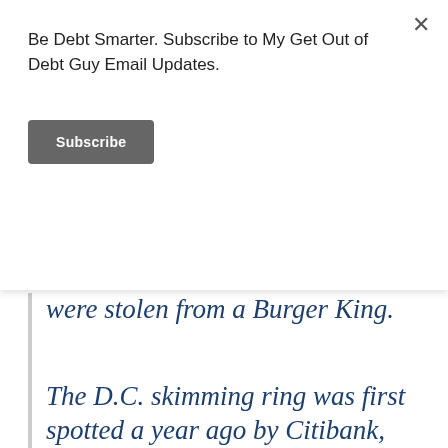Be Debt Smarter. Subscribe to My Get Out of Debt Guy Email Updates.
Subscribe
were stolen from a Burger King.
The D.C. skimming ring was first spotted a year ago by Citibank, which noticed a froth of fraudulent transactions trailing legitimate card use at Clyde's, where cards skimmed